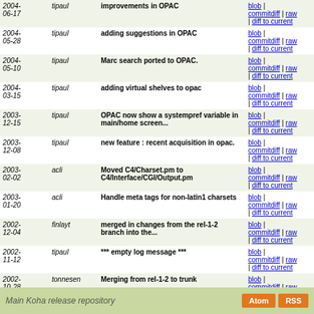| Date | Author | Message | Links |
| --- | --- | --- | --- |
| 2004-06-17 | tipaul | improvements in OPAC | blob | commitdiff | raw | diff to current |
| 2004-05-28 | tipaul | adding suggestions in OPAC | blob | commitdiff | raw | diff to current |
| 2004-05-10 | tipaul | Marc search ported to OPAC. | blob | commitdiff | raw | diff to current |
| 2004-03-15 | tipaul | adding virtual shelves to opac | blob | commitdiff | raw | diff to current |
| 2003-12-15 | tipaul | OPAC now show a systempref variable in main/home screen... | blob | commitdiff | raw | diff to current |
| 2003-12-08 | tipaul | new feature : recent acquisition in opac. | blob | commitdiff | raw | diff to current |
| 2003-02-02 | acli | Moved C4/Charset.pm to C4/Interface/CGI/Output.pm | blob | commitdiff | raw | diff to current |
| 2003-01-20 | acli | Handle meta tags for non-latin1 charsets | blob | commitdiff | raw | diff to current |
| 2002-12-04 | finlayt | merged in changes from the rel-1-2 branch into the... | blob | commitdiff | raw | diff to current |
| 2002-11-12 | tipaul | *** empty log message *** | blob | commitdiff | raw | diff to current |
| 2002-10-28 | tonnesen | Merging from rel-1-2 to trunk | blob | commitdiff | raw | diff to current |
| 2002-10-03 | finlayt | added these files from the rel-1-2 branch. This is... | blob | commitdiff | raw | diff to current |
Main Koha release repository  Atom  RSS